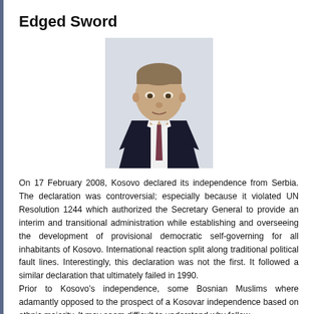Edged Sword
[Figure (photo): Portrait photo of a middle-aged man in a dark suit and tie, light background]
On 17 February 2008, Kosovo declared its independence from Serbia. The declaration was controversial; especially because it violated UN Resolution 1244 which authorized the Secretary General to provide an interim and transitional administration while establishing and overseeing the development of provisional democratic self-governing for all inhabitants of Kosovo. International reaction split along traditional political fault lines. Interestingly, this declaration was not the first. It followed a similar declaration that ultimately failed in 1990. Prior to Kosovo’s independence, some Bosnian Muslims where adamantly opposed to the prospect of a Kosovar independence based on ethnic majority. It may seem difficult to understand why fellow